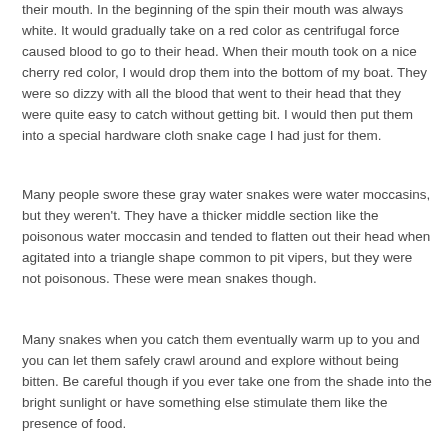their mouth. In the beginning of the spin their mouth was always white. It would gradually take on a red color as centrifugal force caused blood to go to their head. When their mouth took on a nice cherry red color, I would drop them into the bottom of my boat. They were so dizzy with all the blood that went to their head that they were quite easy to catch without getting bit. I would then put them into a special hardware cloth snake cage I had just for them.
Many people swore these gray water snakes were water moccasins, but they weren't. They have a thicker middle section like the poisonous water moccasin and tended to flatten out their head when agitated into a triangle shape common to pit vipers, but they were not poisonous. These were mean snakes though.
Many snakes when you catch them eventually warm up to you and you can let them safely crawl around and explore without being bitten. Be careful though if you ever take one from the shade into the bright sunlight or have something else stimulate them like the presence of food.